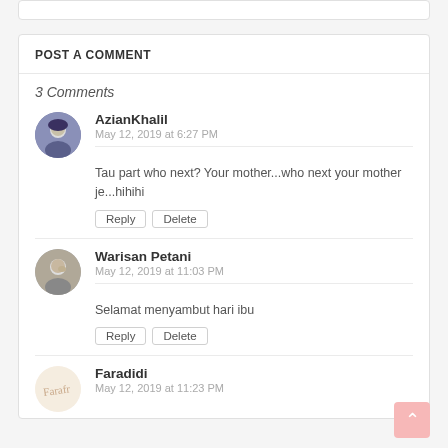POST A COMMENT
3 Comments
AzianKhalil
May 12, 2019 at 6:27 PM
Tau part who next? Your mother...who next your mother je...hihihi
Reply | Delete
Warisan Petani
May 12, 2019 at 11:03 PM
Selamat menyambut hari ibu
Reply | Delete
Faradidi
May 12, 2019 at 11:23 PM